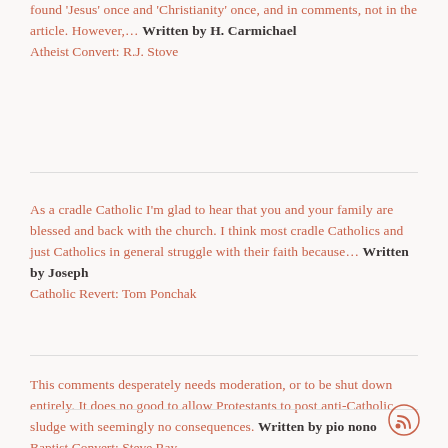found 'Jesus' once and 'Christianity' once, and in comments, not in the article. However,… Written by H. Carmichael
Atheist Convert: R.J. Stove
As a cradle Catholic I'm glad to hear that you and your family are blessed and back with the church. I think most cradle Catholics and just Catholics in general struggle with their faith because… Written by Joseph
Catholic Revert: Tom Ponchak
This comments desperately needs moderation, or to be shut down entirely. It does no good to allow Protestants to post anti-Catholic sludge with seemingly no consequences. Written by pio nono
Baptist Convert: Steve Ray